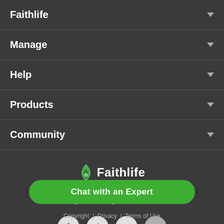Faithlife
Manage
Help
Products
Community
[Figure (logo): Faithlife logo with green flame icon and 'Faithlife' wordmark]
We use technology to equip the Church to grow in the light of the Bible.
[Figure (other): Row of social media icon circles (Faithlife, Facebook, and two others partially visible)]
Chat with an Expert
Copyright | Privacy | Terms of Use